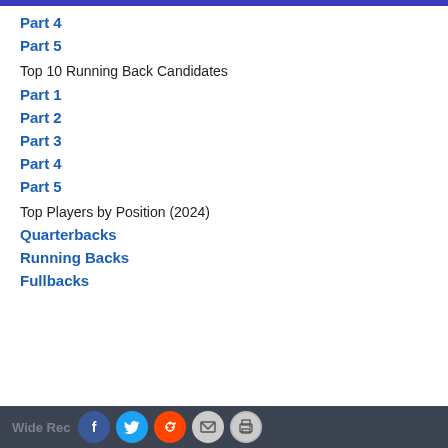Part 4
Part 5
Top 10 Running Back Candidates
Part 1
Part 2
Part 3
Part 4
Part 5
Top Players by Position (2024)
Quarterbacks
Running Backs
Fullbacks
Wide Receivers